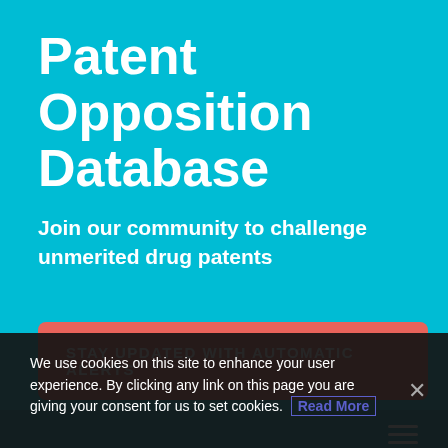Patent Opposition Database
Join our community to challenge unmerited drug patents
STAY UPDATED WITH AUTOMATIC ALERTS
HOME
DRUGS
We use cookies on this site to enhance your user experience. By clicking any link on this page you are giving your consent for us to set cookies. Read More